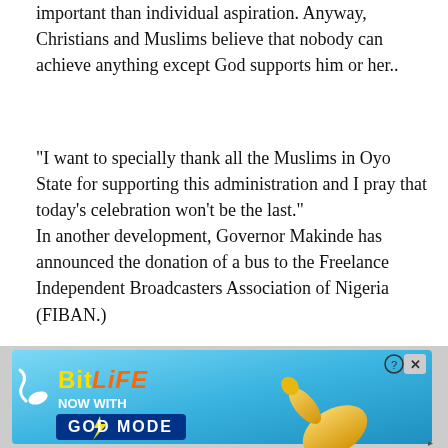important than individual aspiration. Anyway, Christians and Muslims believe that nobody can achieve anything except God supports him or her..
“I want to specially thank all the Muslims in Oyo State for supporting this administration and I pray that today’s celebration won’t be the last.”
In another development, Governor Makinde has announced the donation of a bus to the Freelance Independent Broadcasters Association of Nigeria (FIBAN.)
He told members of the association at the residence of Aare Musulumi: “I want to also use this opportunity to recognise the Freelance Independent Broadcasters Association of Nigeria FIBAN. And I want to make this day we are celebrating Aare Musulumi of Yoruba, Edo, and
[Figure (screenshot): BitLife advertisement banner: blue gradient background with BitLife logo in yellow/orange, text 'NOW WITH GOD MODE' in white and blue button styling, pointing hand graphic on the right, close button (X) in top right corner.]